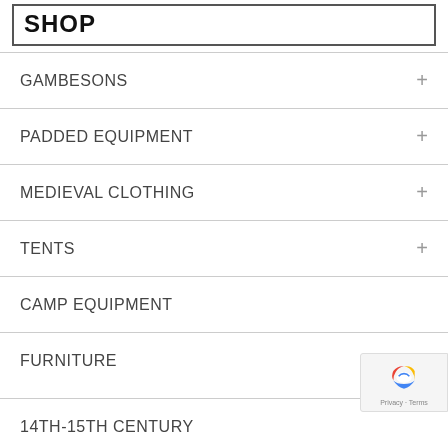SHOP
GAMBESONS
PADDED EQUIPMENT
MEDIEVAL CLOTHING
TENTS
CAMP EQUIPMENT
FURNITURE
14TH-15TH CENTURY